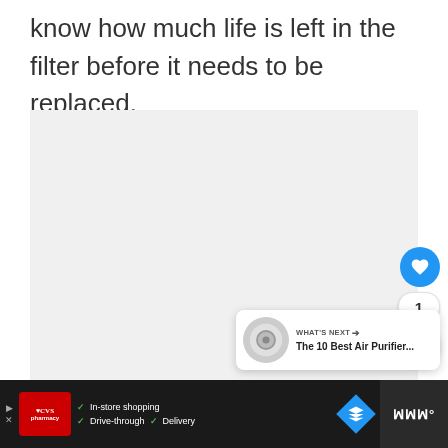features a timer and an indicator to let you know how much life is left in the filter before it needs to be replaced.
[Figure (photo): Large image placeholder area (light gray background), partially visible with social media interaction buttons (like/heart button with count of 1, share button) overlaid on the right side, and a 'What's Next' card showing 'The 10 Best Air Purifier...']
Advertisement: CVS Pharmacy — In-store shopping, Drive-through, Delivery